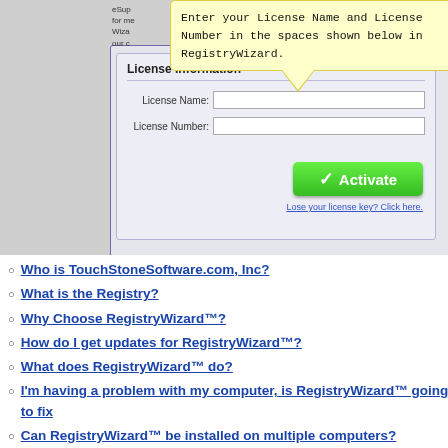[Figure (screenshot): Screenshot of RegistryWizard software showing License Information form with License Name and License Number fields, an Activate button, and a yellow callout tooltip saying 'Enter your License Name and License Number in the spaces shown below in RegistryWizard.']
Who is TouchStoneSoftware.com, Inc?
What is the Registry?
Why Choose RegistryWizard™?
How do I get updates for RegistryWizard™?
What does RegistryWizard™ do?
I'm having a problem with my computer, is RegistryWizard™ going to fix
Can RegistryWizard™ be installed on multiple computers?
What browsers are supported by Registry Wizard™?
How often should I clean the Registry?